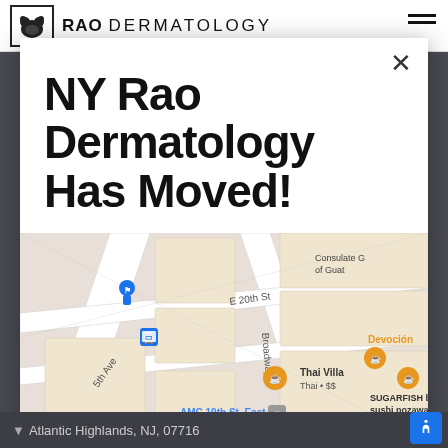RAO DERMATOLOGY
NY Rao Dermatology Has Moved!
[Figure (map): Google Maps screenshot showing street map near 5th Ave, E 20th St, Broadway area in New York City. Shows landmarks: Thai Villa (Thai $$), Devoción, SUGARFISH by sushi nozawa (Sushi $$$), AMC 19th St. East 6, H&M Clothing store, Consulate G of Guat. Streets visible: 5th Ave, E 20th St, Broadway.]
Atlantic Highlands, NJ, 07716